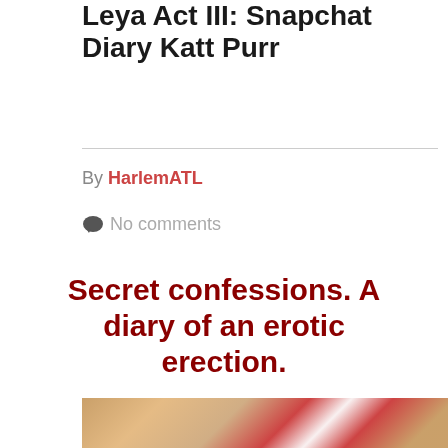Leya Act III: Snapchat Diary Katt Purr
By HarlemATL
No comments
Secret confessions. A diary of an erotic erection.
[Figure (photo): Photo of a woman in a red dress, mirrored/reflected image]